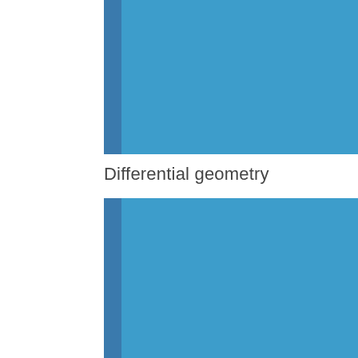[Figure (illustration): Top portion of a blue book cover with a darker blue spine on the left side, cropped at top and bottom]
Differential geometry
[Figure (illustration): Bottom portion of a blue book cover with a darker blue spine on the left side, cropped at top and bottom]